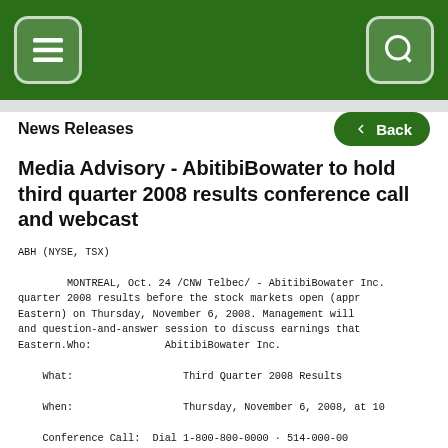Navigation header with menu and search icons
News Releases
Media Advisory - AbitibiBowater to hold third quarter 2008 results conference call and webcast
ABH (NYSE, TSX)

        MONTREAL, Oct. 24 /CNW Telbec/ - AbitibiBowater Inc. quarter 2008 results before the stock markets open (approx Eastern) on Thursday, November 6, 2008. Management will and question-and-answer session to discuss earnings that Eastern.Who:            AbitibiBowater Inc.

    What:                  Third Quarter 2008 Results

    When:                  Thursday, November 6, 2008, at 10

    Conference Call:       Dial 1-800-800-0000 · 514-000-00